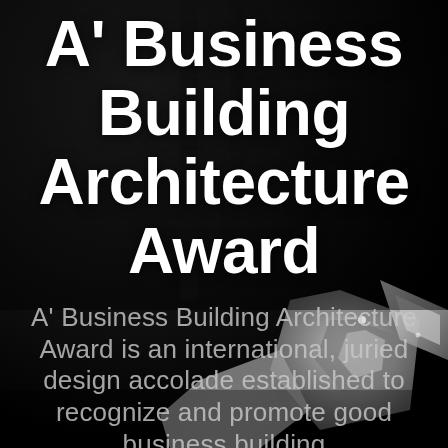[Figure (photo): Dark black and white background photo showing a metallic angular award trophy/sculpture with geometric diamond and triangular shapes, partially visible in the lower right of the image.]
A' Business Building Architecture Award
A' Business Building Architecture Award is an international, juried design accolade established to recognize and promote good business building